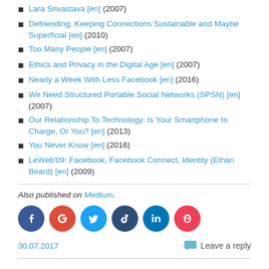Lara Srivastava [en] (2007)
Defriending, Keeping Connections Sustainable and Maybe Superficial [en] (2010)
Too Many People [en] (2007)
Ethics and Privacy in the Digital Age [en] (2007)
Nearly a Week With Less Facebook [en] (2016)
We Need Structured Portable Social Networks (SPSN) [en] (2007)
Our Relationship To Technology: Is Your Smartphone In Charge, Or You? [en] (2013)
You Never Know [en] (2016)
LeWeb'09: Facebook, Facebook Connect, Identity (Ethan Beard) [en] (2009)
Also published on Medium.
[Figure (infographic): Social media sharing icons: Facebook, Google+, Twitter, Tumblr, LinkedIn, Pocket]
30.07.2017
Leave a reply